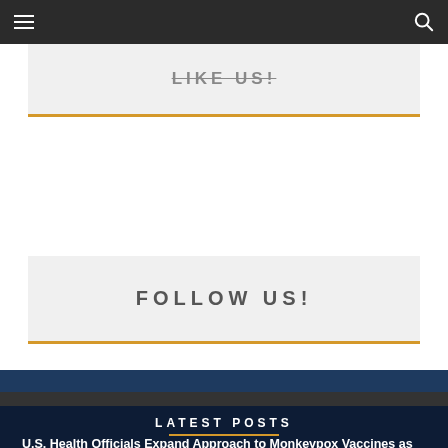LIKE US!
FOLLOW US!
LATEST POSTS
U.S. Health Officials Expand Approach to Monkeypox Vaccines as Cases Continue